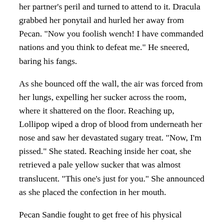her partner's peril and turned to attend to it. Dracula grabbed her ponytail and hurled her away from Pecan. "Now you foolish wench! I have commanded nations and you think to defeat me." He sneered, baring his fangs.
As she bounced off the wall, the air was forced from her lungs, expelling her sucker across the room, where it shattered on the floor. Reaching up, Lollipop wiped a drop of blood from underneath her nose and saw her devastated sugary treat. "Now, I'm pissed." She stated. Reaching inside her coat, she retrieved a pale yellow sucker that was almost translucent. "This one's just for you." She announced as she placed the confection in her mouth.
Pecan Sandie fought to get free of his physical match and avoid the dangerous dagger of the demented dead guy in rags (that's a lot of d's but I love alliteration). Almost upon him, the window high up in the wall, shattered. A familiar blue masked luchador descended, landing on top of